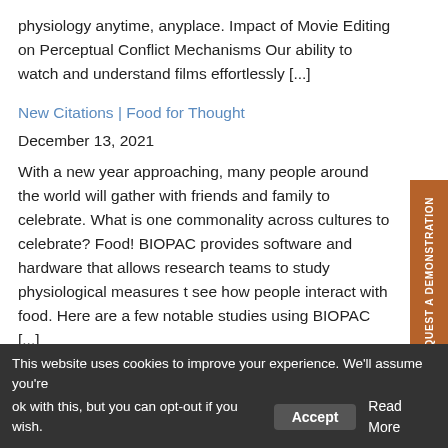physiology anytime, anyplace. Impact of Movie Editing on Perceptual Conflict Mechanisms Our ability to watch and understand films effortlessly [...]
New Citations | Food for Thought
December 13, 2021
With a new year approaching, many people around the world will gather with friends and family to celebrate. What is one commonality across cultures to celebrate? Food! BIOPAC provides software and hardware that allows research teams to study physiological measures to see how people interact with food. Here are a few notable studies using BIOPAC [...]
New Citations | Physiological Measures to Understand
This website uses cookies to improve your experience. We'll assume you're ok with this, but you can opt-out if you wish.  Accept  Read More